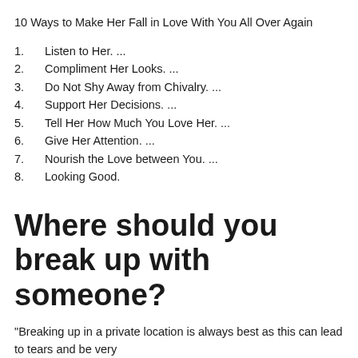10 Ways to Make Her Fall in Love With You All Over Again
1. Listen to Her. ...
2. Compliment Her Looks. ...
3. Do Not Shy Away from Chivalry. ...
4. Support Her Decisions. ...
5. Tell Her How Much You Love Her. ...
6. Give Her Attention. ...
7. Nourish the Love between You. ...
8. Looking Good.
Where should you break up with someone?
“Breaking up in a private location is always best as this can lead to tears and be very